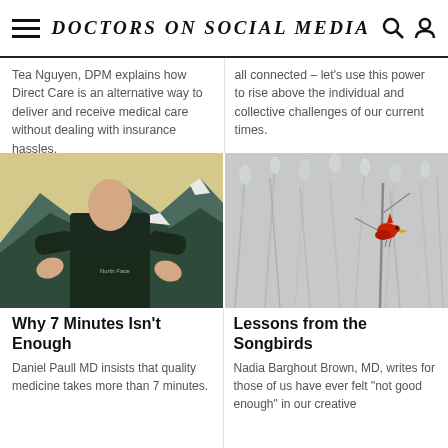Doctors on Social Media
Tea Nguyen, DPM explains how Direct Care is an alternative way to deliver and receive medical care without dealing with insurance hassles.
all connected – let's use this power to rise above the individual and collective challenges of our current times.
[Figure (photo): Doctor standing outdoors with mountain landscape background, wearing a dark North Face jacket]
[Figure (photo): Red cardinal bird perched on a bare branch among frost-covered grasses in winter]
Why 7 Minutes Isn't Enough
Lessons from the Songbirds
Daniel Paull MD insists that quality medicine takes more than 7 minutes.
Nadia Barghout Brown, MD, writes for those of us have ever felt "not good enough" in our creative